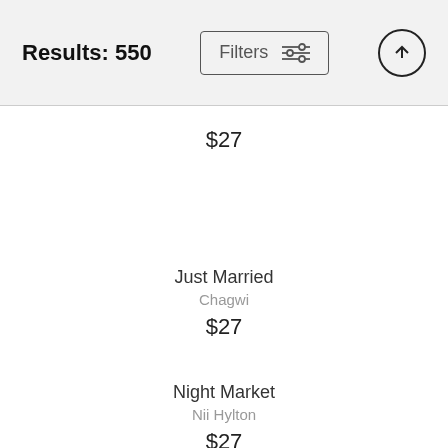Results: 550  Filters
$27
Just Married
Chagwi
$27
Night Market
Nii Hylton
$27